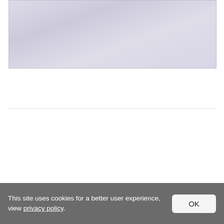[Figure (illustration): A rectangular area with a light lavender/purple gradient background, representing a placeholder or partially loaded image area]
This site uses cookies for a better user experience, view privacy policy. OK